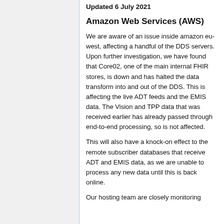Updated 6 July 2021
Amazon Web Services (AWS)
We are aware of an issue inside amazon eu-west, affecting a handful of the DDS servers. Upon further investigation, we have found that Core02, one of the main internal FHIR stores, is down and has halted the data transform into and out of the DDS. This is affecting the live ADT feeds and the EMIS data. The Vision and TPP data that was received earlier has already passed through end-to-end processing, so is not affected.
This will also have a knock-on effect to the remote subscriber databases that receive ADT and EMIS data, as we are unable to process any new data until this is back online.
Our hosting team are closely monitoring